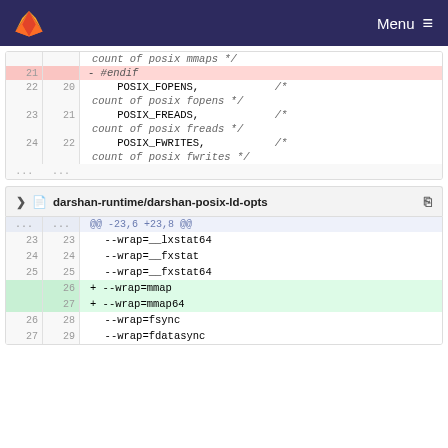Menu
| old | new | code |
| --- | --- | --- |
|  |  | count of posix mmaps */ |
| 21 |  | - #endif |
| 22 | 20 |     POSIX_FOPENS,    /* |
|  |  | count of posix fopens */ |
| 23 | 21 |     POSIX_FREADS,    /* |
|  |  | count of posix freads */ |
| 24 | 22 |     POSIX_FWRITES,   /* |
|  |  | count of posix fwrites */ |
| ... | ... |  |
darshan-runtime/darshan-posix-ld-opts
| old | new | code |
| --- | --- | --- |
| ... | ... | @@ -23,6 +23,8 @@ |
| 23 | 23 |   --wrap=__lxstat64 |
| 24 | 24 |   --wrap=__fxstat |
| 25 | 25 |   --wrap=__fxstat64 |
|  | 26 | + --wrap=mmap |
|  | 27 | + --wrap=mmap64 |
| 26 | 28 |   --wrap=fsync |
| 27 | 29 |   --wrap=fdatasync |